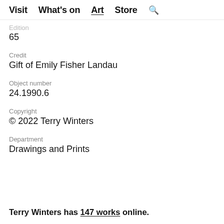Visit  What's on  Art  Store  🔍
Edition
65
Credit
Gift of Emily Fisher Landau
Object number
24.1990.6
Copyright
© 2022 Terry Winters
Department
Drawings and Prints
Terry Winters has 147 works online.